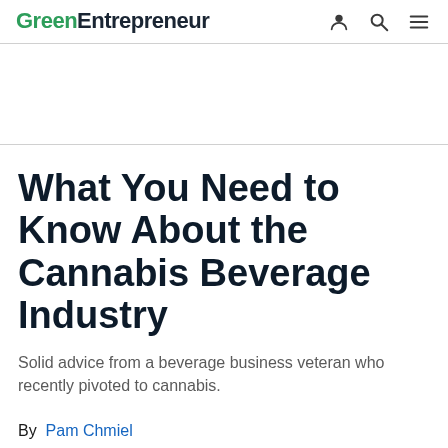GreenEntrepreneur
What You Need to Know About the Cannabis Beverage Industry
Solid advice from a beverage business veteran who recently pivoted to cannabis.
By Pam Chmiel